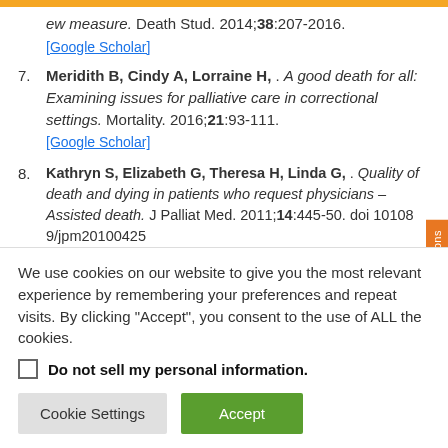ew measure. Death Stud. 2014;38:207-2016. [Google Scholar]
7. Meridith B, Cindy A, Lorraine H, . A good death for all: Examining issues for palliative care in correctional settings. Mortality. 2016;21:93-111. [Google Scholar]
8. Kathryn S, Elizabeth G, Theresa H, Linda G, . Quality of death and dying in patients who request physicians – Assisted death. J Palliat Med. 2011;14:445-50. doi 10108 9/jpm20100425
We use cookies on our website to give you the most relevant experience by remembering your preferences and repeat visits. By clicking "Accept", you consent to the use of ALL the cookies.
Do not sell my personal information.